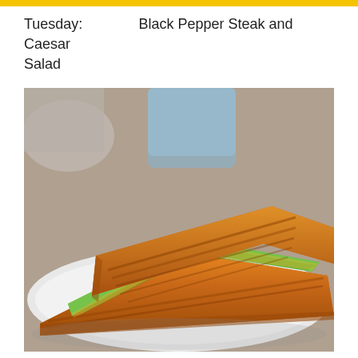Tuesday:    Black Pepper Steak and Caesar Salad
[Figure (photo): A grilled sandwich (panini) with green filling, served on a white plate, with a blurred glass cup in the background.]